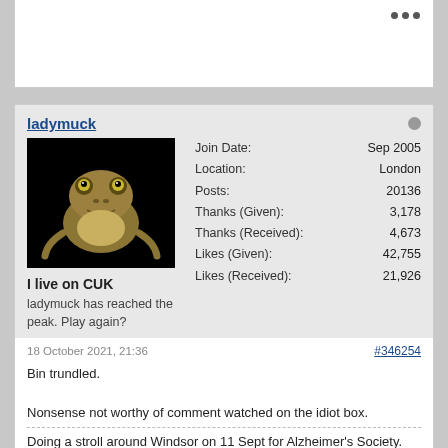[Figure (screenshot): Top portion of a forum post card, partially visible, with three dots menu icon in top right]
ladymuck
[Figure (photo): Forum user avatar: cartoon frog on black background]
Join Date: Sep 2005
Location: London
Posts: 20136
Thanks (Given): 3,178
Thanks (Received): 4,673
Likes (Given): 42,755
Likes (Received): 21,926
I live on CUK
ladymuck has reached the peak. Play again?
18 October 2021, 21:36
#346254
Bin trundled.
Nonsense not worthy of comment watched on the idiot box.
Doing a stroll around Windsor on 11 Sept for Alzheimer's Society. You can chuck me a few quid here if you like:
https://www.justgiving.com/fundraising/lmallen-1